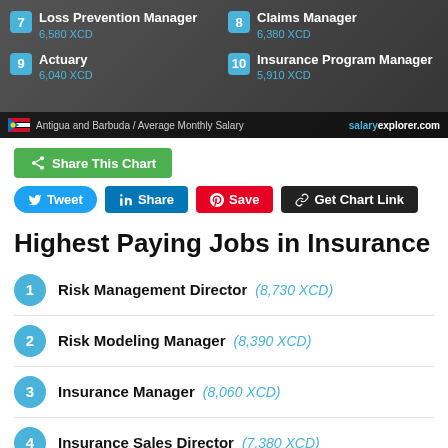[Figure (infographic): Top paying insurance jobs banner showing ranks 7-10: 7 Loss Prevention Manager 6,580 XCD, 8 Claims Manager 6,380 XCD, 9 Actuary 6,040 XCD, 10 Insurance Program Manager 5,910 XCD. Footer: Antigua and Barbuda / Average Monthly Salary, salaryexplorer.com]
Share This Chart
Tweet  Share  Save  Get Chart Link
Highest Paying Jobs in Insurance
1 Risk Management Director (8,730 XCD)
2 Risk Modeling Manager (8,390 XCD)
3 Insurance Manager (8,060 XCD)
4 Insurance Sales Director (7,380 XCD)
5 Policy Change Director (7,050 XCD)